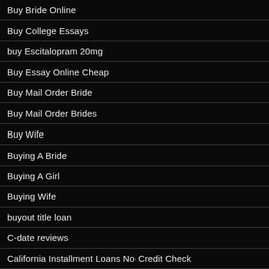Buy Bride Online
Buy College Essays
buy Escitalopram 20mg
Buy Essay Online Cheap
Buy Mail Order Bride
Buy Mail Order Brides
Buy Wife
Buying A Bride
Buying A Girl
Buying Wife
buyout title loan
C-date reviews
California Installment Loans No Credit Check